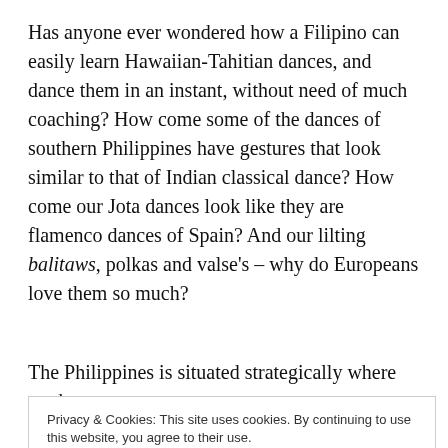Has anyone ever wondered how a Filipino can easily learn Hawaiian-Tahitian dances, and dance them in an instant, without need of much coaching? How come some of the dances of southern Philippines have gestures that look similar to that of Indian classical dance? How come our Jota dances look like they are flamenco dances of Spain? And our lilting balitaws, polkas and valse's – why do Europeans love them so much?
The Philippines is situated strategically where on the
Privacy & Cookies: This site uses cookies. By continuing to use this website, you agree to their use. To find out more, including how to control cookies, see here: Cookie Policy
is Malaysia and China and to the others the rest